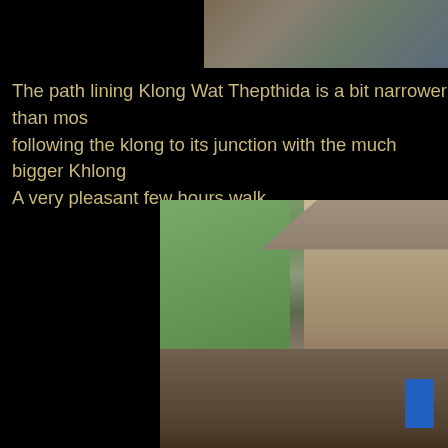[Figure (photo): Partial view of a photo showing tiled floor with feet/shoes visible, partially cropped at top of page]
The path lining Klong Wat Thepthida is a bit narrower than most following the klong to its junction with the much bigger Khlong A very pleasant few hours walk.
[Figure (photo): Photo of wooden houses and shanty buildings along a canal (klong) in Bangkok, Thailand, with trees on the left and traditional wooden structures on the right, with various items hanging outside and a blue barrel visible]